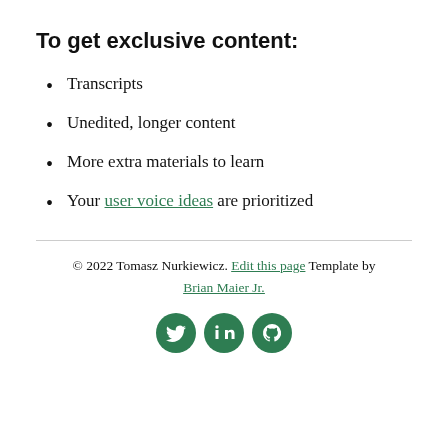To get exclusive content:
Transcripts
Unedited, longer content
More extra materials to learn
Your user voice ideas are prioritized
© 2022 Tomasz Nurkiewicz. Edit this page Template by Brian Maier Jr.